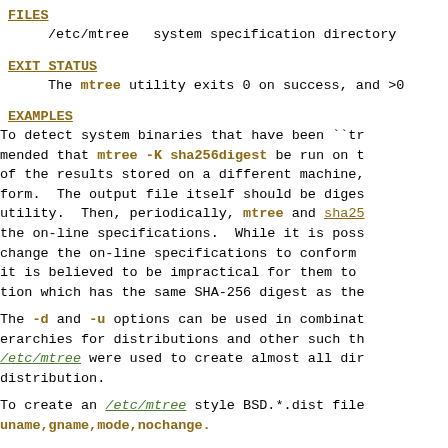FILES
/etc/mtree   system specification directory
EXIT STATUS
The mtree utility exits 0 on success, and >0
EXAMPLES
To detect system binaries that have been ``tr mended that mtree -K sha256digest be run on t of the results stored on a different machine, form.  The output file itself should be diges utility.  Then, periodically, mtree and sha25 the on-line specifications.  While it is poss change the on-line specifications to conform it is believed to be impractical for them to tion which has the same SHA-256 digest as the
The -d and -u options can be used in combinat erarchies for distributions and other such th /etc/mtree were used to create almost all dir distribution.
To create an /etc/mtree style BSD.*.dist file uname,gname,mode,nochange.
SEE ALSO
chflags(1), chgrp(1), chmod(1), cksum(1), md5 md5(3), chown(8)